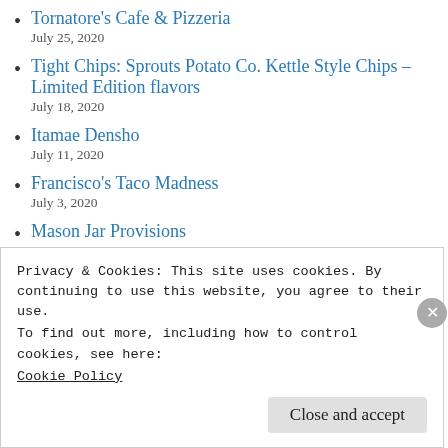Tornatore’s Cafe & Pizzeria
July 25, 2020
Tight Chips: Sprouts Potato Co. Kettle Style Chips – Limited Edition flavors
July 18, 2020
Itamae Densho
July 11, 2020
Francisco’s Taco Madness
July 3, 2020
Mason Jar Provisions
June 27, 2020
Privacy & Cookies: This site uses cookies. By continuing to use this website, you agree to their use.
To find out more, including how to control cookies, see here:
Cookie Policy
Close and accept